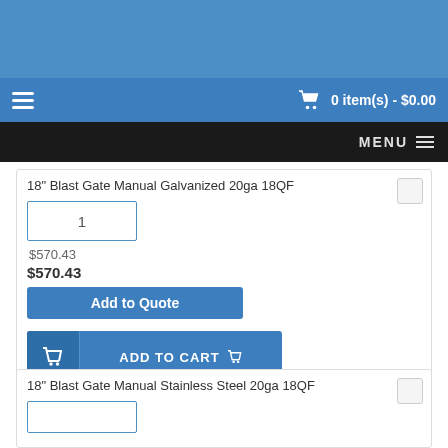0 item(s) - $0.00
MENU
18" Blast Gate Manual Galvanized 20ga 18QF
1
$570.43
$570.43
Add to Quote
ADD TO CART
18" Blast Gate Manual Stainless Steel 20ga 18QF